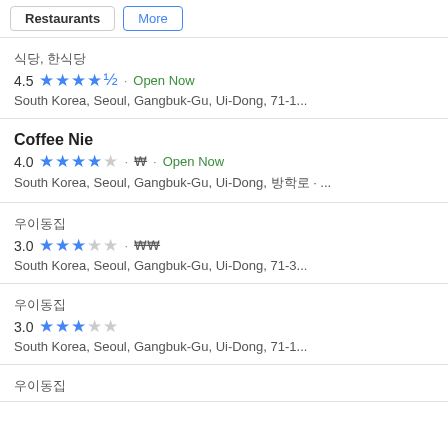Restaurants · More
식당, 한식당 | 4.5 stars | Open Now | South Korea, Seoul, Gangbuk-Gu, Ui-Dong, 71-1...
Coffee Nie | 4.0 stars | ₩ | Open Now | South Korea, Seoul, Gangbuk-Gu, Ui-Dong, 방학로 · ...
우이동집 | 3.0 stars | ₩₩ | South Korea, Seoul, Gangbuk-Gu, Ui-Dong, 71-3...
우이동집 | 3.0 stars | South Korea, Seoul, Gangbuk-Gu, Ui-Dong, 71-1...
우이동집